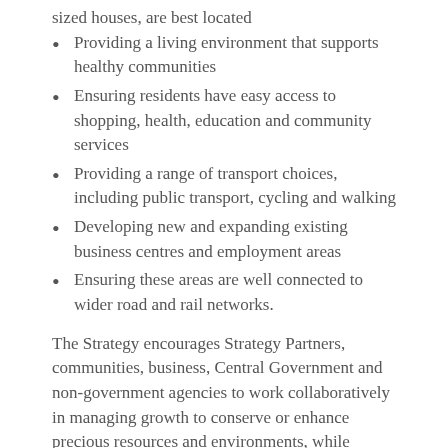sized houses, are best located
Providing a living environment that supports healthy communities
Ensuring residents have easy access to shopping, health, education and community services
Providing a range of transport choices, including public transport, cycling and walking
Developing new and expanding existing business centres and employment areas
Ensuring these areas are well connected to wider road and rail networks.
The Strategy encourages Strategy Partners, communities, business, Central Government and non-government agencies to work collaboratively in managing growth to conserve or enhance precious resources and environments, while allowing growth to build vibrant and prosperous towns and suburbs that